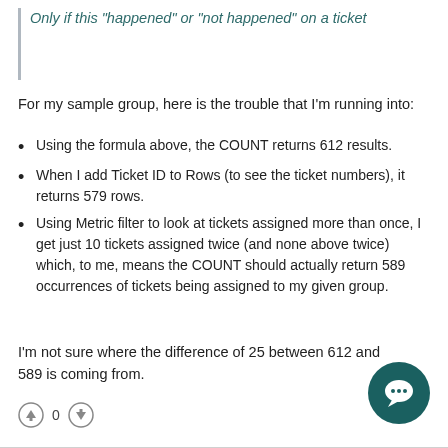Only if this "happened" or "not happened" on a ticket
For my sample group, here is the trouble that I'm running into:
Using the formula above, the COUNT returns 612 results.
When I add Ticket ID to Rows (to see the ticket numbers), it returns 579 rows.
Using Metric filter to look at tickets assigned more than once, I get just 10 tickets assigned twice (and none above twice) which, to me, means the COUNT should actually return 589 occurrences of tickets being assigned to my given group.
I'm not sure where the difference of 25 between 612 and 589 is coming from.
[Figure (other): Upvote icon, vote count 0, downvote icon, and a teal circular chat button]